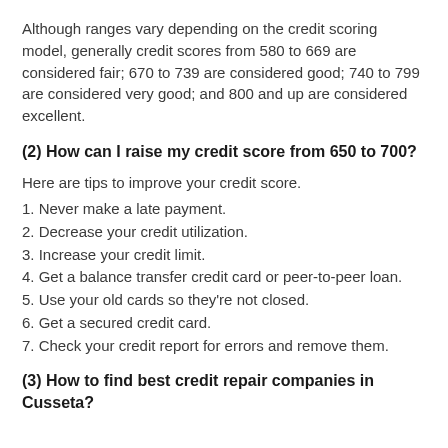Although ranges vary depending on the credit scoring model, generally credit scores from 580 to 669 are considered fair; 670 to 739 are considered good; 740 to 799 are considered very good; and 800 and up are considered excellent.
(2) How can I raise my credit score from 650 to 700?
Here are tips to improve your credit score.
1. Never make a late payment.
2. Decrease your credit utilization.
3. Increase your credit limit.
4. Get a balance transfer credit card or peer-to-peer loan.
5. Use your old cards so they're not closed.
6. Get a secured credit card.
7. Check your credit report for errors and remove them.
(3) How to find best credit repair companies in Cusseta?